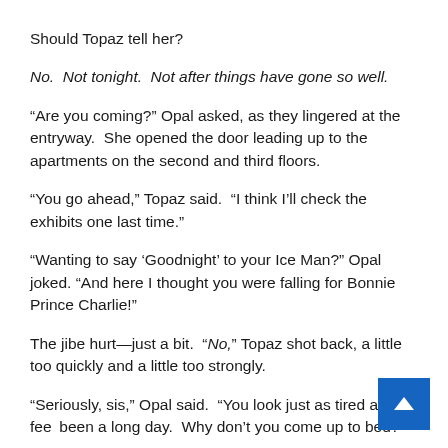Should Topaz tell her?
No.  Not tonight.  Not after things have gone so well.
“Are you coming?” Opal asked, as they lingered at the entryway.  She opened the door leading up to the apartments on the second and third floors.
“You go ahead,” Topaz said.  “I think I’ll check the exhibits one last time.”
“Wanting to say ‘Goodnight’ to your Ice Man?” Opal joked. “And here I thought you were falling for Bonnie Prince Charlie!”
The jibe hurt—just a bit.  “No,” Topaz shot back, a little too quickly and a little too strongly.
“Seriously, sis,” Opal said.  “You look just as tired as I fee[l.  It’s] been a long day.  Why don’t you come up to bed?”